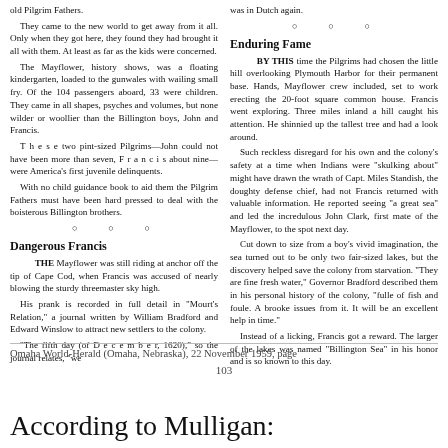old Pilgrim Fathers.
    They came to the new world to get away from it all. Only when they got here, they found they had brought it all with them. At least as far as the kids were concerned.
    The Mayflower, history shows, was a floating kindergarten, loaded to the gunwales with wailing small fry. Of the 104 passengers aboard, 33 were children. They came in all shapes, psyches and volumes, but none wilder or woollier than the Billington boys, John and Francis.
    These two pint-sized Pilgrims—John could not have been more than seven, Francis about nine—were America's first juvenile delinquents.
    With no child guidance book to aid them the Pilgrim Fathers must have been hard pressed to deal with the boisterous Billington brothers.
Dangerous Francis
THE Mayflower was still riding at anchor off the tip of Cape Cod, when Francis was accused of nearly blowing the sturdy threemaster sky high.
    His prank is recorded in full detail in "Mourt's Relation," a journal written by William Bradford and Edward Winslow to attract new settlers to the colony.
    "The fifth day (of December, 1620)," so the journal relates, "we
was in Dutch again.
Enduring Fame
BY THIS time the Pilgrims had chosen the little hill overlooking Plymouth Harbor for their permanent base. Hands, Mayflower crew included, set to work erecting the 20-foot square common house. Francis went exploring. Three miles inland a hill caught his attention. He shinnied up the tallest tree and had a look around.
    Such reckless disregard for his own and the colony's safety at a time when Indians were "skulking about" might have drawn the wrath of Capt. Miles Standish, the doughty defense chief, had not Francis returned with valuable information. He reported seeing "a great sea" and led the incredulous John Clark, first mate of the Mayflower, to the spot next day.
    Cut down to size from a boy's vivid imagination, the sea turned out to be only two fair-sized lakes, but the discovery helped save the colony from starvation. "They are fine fresh water," Governor Bradford described them in his personal history of the colony, "fulle of fish and foule. A brooke issues from it. It will be an excellent help in time."
    Instead of a licking, Francis got a reward. The larger of the lakes was named "Billington Sea" in his honor and is so known to this day.
Omaha World-Herald (Omaha, Nebraska), 22 November 1959, page
103
According to Mulligan: